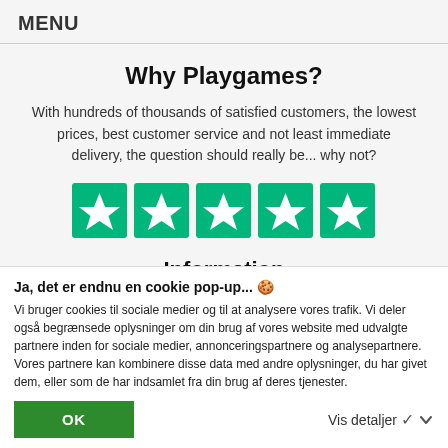MENU
Why Playgames?
With hundreds of thousands of satisfied customers, the lowest prices, best customer service and not least immediate delivery, the question should really be... why not?
[Figure (illustration): Five green Trustpilot-style star rating boxes in a row]
Information
Ja, det er endnu en cookie pop-up... 🍪
Vi bruger cookies til sociale medier og til at analysere vores trafik. Vi deler også begrænsede oplysninger om din brug af vores website med udvalgte partnere inden for sociale medier, annonceringspartnere og analysepartnere. Vores partnere kan kombinere disse data med andre oplysninger, du har givet dem, eller som de har indsamlet fra din brug af deres tjenester.
OK
Vis detaljer